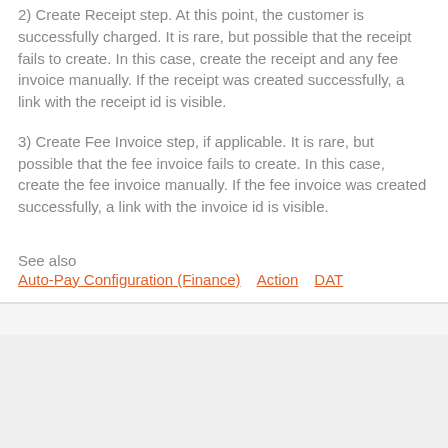2)  Create Receipt step.  At this point, the customer is successfully charged.  It is rare, but possible that the receipt fails to create.  In this case, create the receipt and any fee invoice manually.  If the receipt was created successfully, a link with the receipt id is visible.
3)  Create Fee Invoice step, if applicable.  It is rare, but possible that the fee invoice fails to create.  In this case, create the fee invoice manually.  If the fee invoice was created successfully, a link with the invoice id is visible.
See also
Auto-Pay Configuration (Finance)   Action   DAT